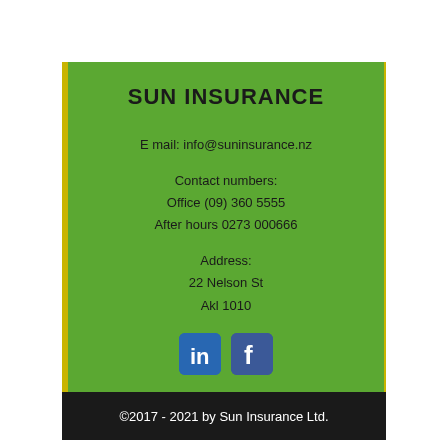SUN INSURANCE
E mail: info@suninsurance.nz
Contact numbers:
Office (09) 360 5555
After hours 0273 000666
Address:
22 Nelson St
Akl 1010
[Figure (logo): LinkedIn and Facebook social media icons]
©2017 - 2021 by Sun Insurance Ltd.